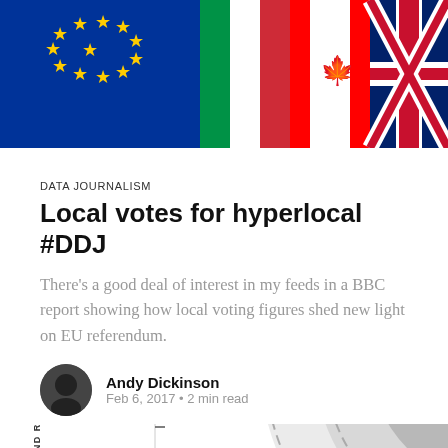[Figure (photo): Top banner photo showing European Union flag alongside other national flags including Italian, Canadian, and British flags]
DATA JOURNALISM
Local votes for hyperlocal #DDJ
There's a good deal of interest in my feeds in a BBC report showing how local voting figures shed new light on EU referendum.
Andy Dickinson
Feb 6, 2017 • 2 min read
[Figure (infographic): Concentric circle diagram with labels OPEN DATA PORTAL at center, DATA INTERMEDIARIES in next ring, with axes labeled SKILLS AND RESOURCES (left vertical), VALUE (right vertical), and HIGH markers on both sides]